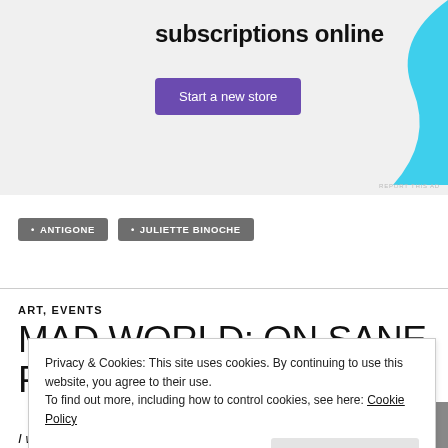[Figure (other): Advertisement banner with text 'subscriptions online', a purple 'Start a new store' button, and a blue decorative shape on the right. Small 'REPORT THIS AD' text at bottom right.]
• ANTIGONE
• JULIETTE BINOCHE
ART, EVENTS
MAD WORLD: ON SANE PEOPLE IN INSANE
Privacy & Cookies: This site uses cookies. By continuing to use this website, you agree to their use.
To find out more, including how to control cookies, see here: Cookie Policy
Close and accept
I wasn't sure what to expect